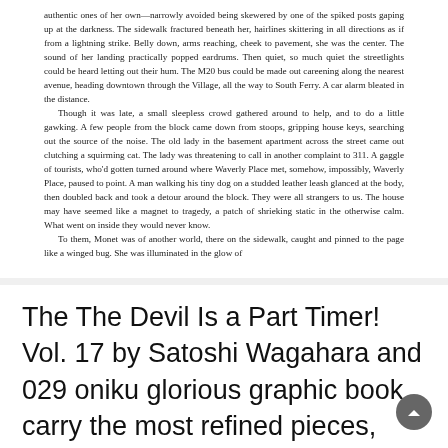authentic ones of her own—narrowly avoided being skewered by one of the spiked posts gaping up at the darkness. The sidewalk fractured beneath her, hairlines skittering in all directions as if from a lightning strike. Belly down, arms reaching, cheek to pavement, she was the center. The sound of her landing practically popped eardrums. Then quiet, so much quiet the streetlights could be heard letting out their hum. The M20 bus could be made out careening along the nearest avenue, heading downtown through the Village, all the way to South Ferry. A car alarm bleated in the distance.
	Though it was late, a small sleepless crowd gathered around to help, and to do a little gawking. A few people from the block came down from stoops, gripping house keys, searching out the source of the noise. The old lady in the basement apartment across the street came out clutching a squirming cat. The lady was threatening to call in another complaint to 311. A gaggle of tourists, who'd gotten turned around where Waverly Place met, somehow, impossibly, Waverly Place, paused to point. A man walking his tiny dog on a studded leather leash glanced at the body, then doubled back and took a detour around the block. They were all strangers to us. The house may have seemed like a magnet to tragedy, a patch of shrieking static in the otherwise calm. What went on inside they would never know.
	To them, Monet was of another world, there on the sidewalk, caught and pinned to the page like a winged bug. She was illuminated in the glow of
The The Devil Is a Part Timer! Vol. 17 by Satoshi Wagahara and 029 oniku glorious graphic book carry the most refined pieces, blending harsh, satire with social insight. However, the author beautifully introduces a jealous and psychotic villain who turns